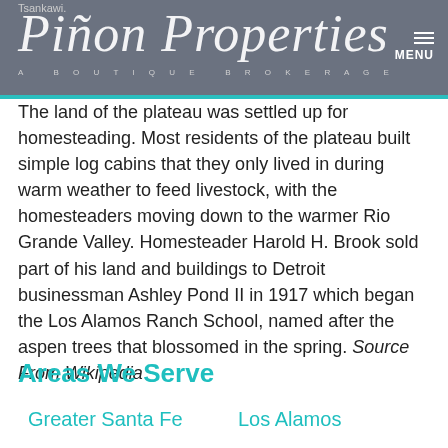Tsankawi. Piñon Properties A BOUTIQUE BROKERAGE MENU
The land of the plateau was settled up for homesteading. Most residents of the plateau built simple log cabins that they only lived in during warm weather to feed livestock, with the homesteaders moving down to the warmer Rio Grande Valley. Homesteader Harold H. Brook sold part of his land and buildings to Detroit businessman Ashley Pond II in 1917 which began the Los Alamos Ranch School, named after the aspen trees that blossomed in the spring. Source From Wikipedia
Areas We Serve
Greater Santa Fe
Los Alamos